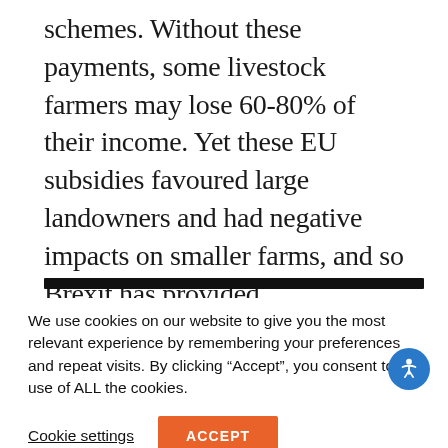schemes. Without these payments, some livestock farmers may lose 60-80% of their income. Yet these EU subsidies favoured large landowners and had negative impacts on smaller farms, and so Brexit has provided opportunities for farming reform in the UK.
We use cookies on our website to give you the most relevant experience by remembering your preferences and repeat visits. By clicking “Accept”, you consent to the use of ALL the cookies.
Cookie settings
ACCEPT